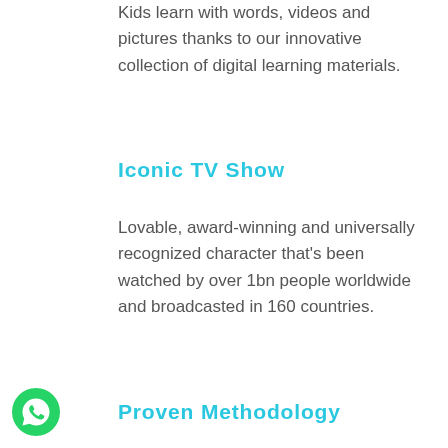Kids learn with words, videos and pictures thanks to our innovative collection of digital learning materials.
Iconic TV Show
Lovable, award-winning and universally recognized character that's been watched by over 1bn people worldwide and broadcasted in 160 countries.
Proven Methodology
[Figure (logo): WhatsApp icon button in bottom-left corner]